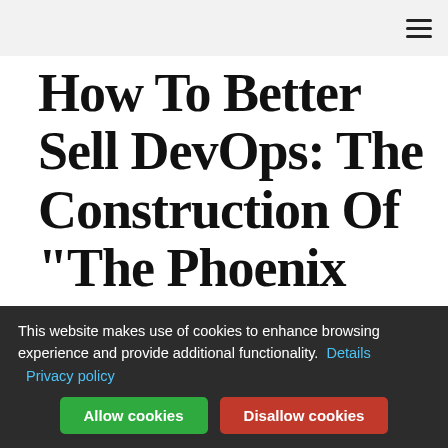☰ (hamburger menu icon)
How To Better Sell DevOps: The Construction Of "The Phoenix Project"
March 20, 2013  by Gene Kim — 5 Comments
This website makes use of cookies to enhance browsing experience and provide additional functionality.  Details  Privacy policy  Allow cookies  Disallow cookies